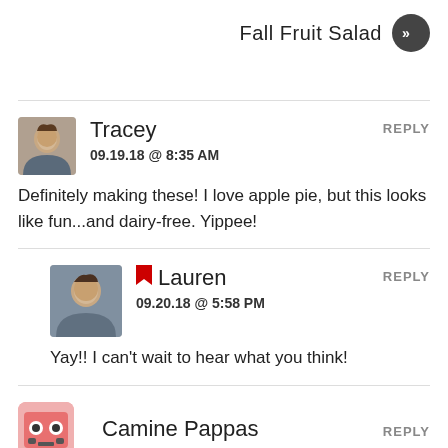Fall Fruit Salad
Tracey
09.19.18 @ 8:35 AM
Definitely making these! I love apple pie, but this looks like fun...and dairy-free. Yippee!
Lauren
09.20.18 @ 5:58 PM
Yay!! I can't wait to hear what you think!
Camine Pappas